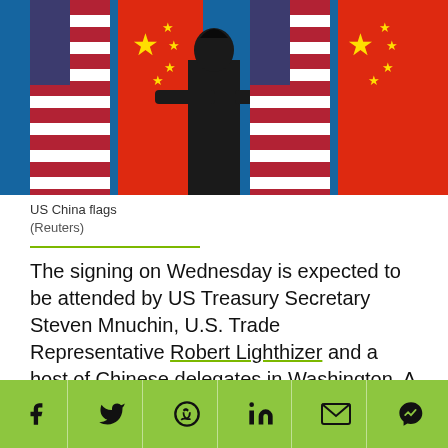[Figure (photo): A person in a black suit adjusting Chinese and American flags on stands against a blue background. Multiple alternating US and Chinese flags are visible.]
US China flags
(Reuters)
The signing on Wednesday is expected to be attended by US Treasury Secretary Steven Mnuchin, U.S. Trade Representative Robert Lighthizer and a host of Chinese delegates in Washington. A lot is expected from the trade deal but not much is clear.
[Figure (infographic): Social media share bar with icons for Facebook, Twitter, WhatsApp, LinkedIn, Email, and Facebook Messenger on a green background.]